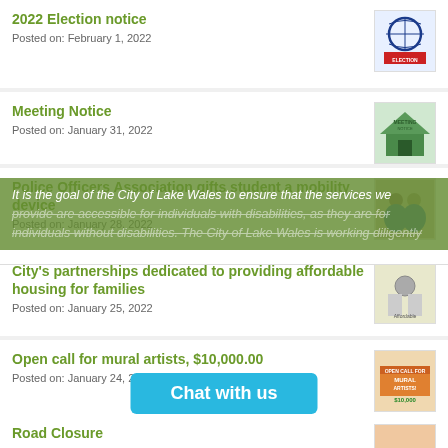2022 Election notice
Posted on: February 1, 2022
Meeting Notice
Posted on: January 31, 2022
It is the goal of the City of Lake Wales to ensure that the services we provide are accessible for individuals with disabilities, as they are for individuals without disabilities. The City of Lake Wales is working diligently to ensure ADA and federally mandated accessibility requirements. If you have questions or require additional information, please contact us at the information below.
Police Officers Association gifts student a mobility device
Posted on: January 28, 2022
City's partnerships dedicated to providing affordable housing for families
Posted on: January 25, 2022
Open call for mural artists, $10,000.00
Posted on: January 24, 2022
Chat with us
Road Closure